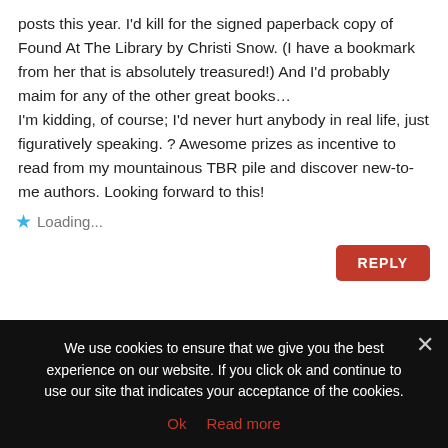posts this year. I'd kill for the signed paperback copy of Found At The Library by Christi Snow. (I have a bookmark from her that is absolutely treasured!) And I'd probably maim for any of the other great books… I'm kidding, of course; I'd never hurt anybody in real life, just figuratively speaking. ? Awesome prizes as incentive to read from my mountainous TBR pile and discover new-to-me authors. Looking forward to this!
Loading...
REPLY
JayHJay on August 21, 2017 at 9:04 pm
We use cookies to ensure that we give you the best experience on our website. If you click ok and continue to use our site that indicates your acceptance of the cookies.
Ok   Read more